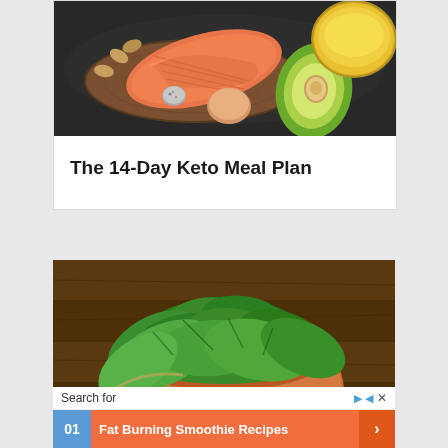[Figure (photo): Keto diet food photo showing salmon fillet on wooden board, egg, avocado half, almonds, quail egg, and a bowl of olive oil on dark background]
The 14-Day Keto Meal Plan
[Figure (photo): Bowl of fresh green spinach leaves on wooden table background, with an advertisement overlay at the bottom showing 'Search for' bar and '01 Fat Burning Smoothie Recipes' result in orange with blue number box]